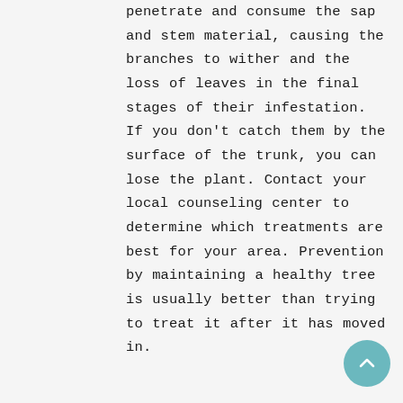penetrate and consume the sap and stem material, causing the branches to wither and the loss of leaves in the final stages of their infestation. If you don't catch them by the surface of the trunk, you can lose the plant. Contact your local counseling center to determine which treatments are best for your area. Prevention by maintaining a healthy tree is usually better than trying to treat it after it has moved in.